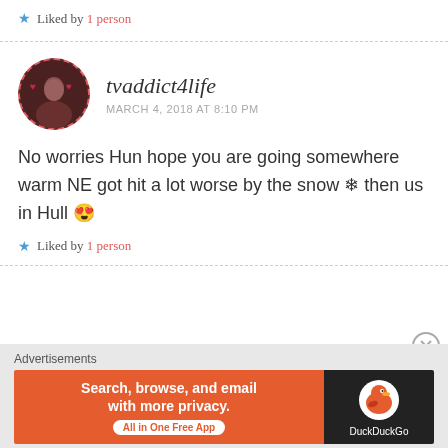★ Liked by 1 person
tvaddict4life
MARCH 4, 2018 AT 8:10 PM
No worries Hun hope you are going somewhere warm NE got hit a lot worse by the snow ❄ then us in Hull 😍
★ Liked by 1 person
Advertisements
Search, browse, and email with more privacy. All in One Free App
DuckDuckGo